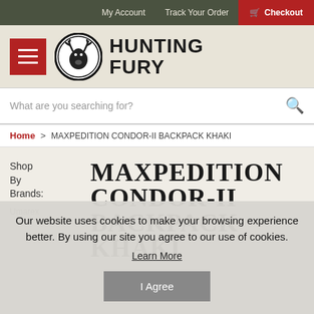My Account | Track Your Order | Checkout
[Figure (logo): Hunting Fury logo with deer head in circle and bold text HUNTING FURY]
What are you searching for?
Home > MAXPEDITION CONDOR-II BACKPACK KHAKI
Shop By Brands:
MAXPEDITION CONDOR-II BACKPACK KHAKI
Umarex
Our website uses cookies to make your browsing experience better. By using our site you agree to our use of cookies.
Learn More
I Agree